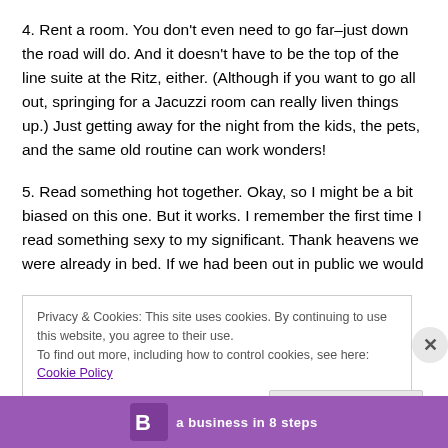4. Rent a room. You don't even need to go far–just down the road will do. And it doesn't have to be the top of the line suite at the Ritz, either. (Although if you want to go all out, springing for a Jacuzzi room can really liven things up.) Just getting away for the night from the kids, the pets, and the same old routine can work wonders!
5. Read something hot together. Okay, so I might be a bit biased on this one. But it works. I remember the first time I read something sexy to my significant. Thank heavens we were already in bed. If we had been out in public we would
Privacy & Cookies: This site uses cookies. By continuing to use this website, you agree to their use.
To find out more, including how to control cookies, see here: Cookie Policy
Close and accept